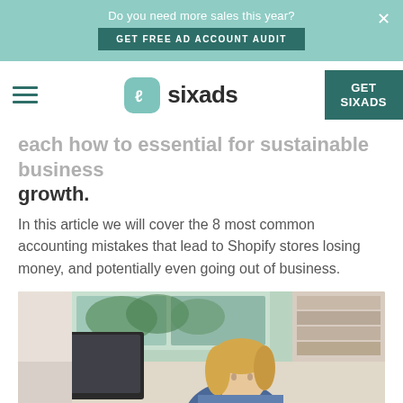Do you need more sales this year? GET FREE AD ACCOUNT AUDIT
sixads — GET SIXADS
...each how to essential for sustainable business growth.
In this article we will cover the 8 most common accounting mistakes that lead to Shopify stores losing money, and potentially even going out of business.
[Figure (photo): Woman with blonde hair sitting at a desk, working on a laptop computer in a home office setting with bookshelves and a window in the background.]